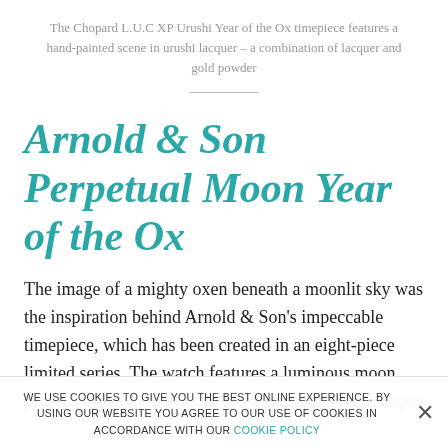The Chopard L.U.C XP Urushi Year of the Ox timepiece features a hand-painted scene in urushi lacquer – a combination of lacquer and gold powder
Arnold & Son Perpetual Moon Year of the Ox
The image of a mighty oxen beneath a moonlit sky was the inspiration behind Arnold & Son's impeccable timepiece, which has been created in an eight-piece limited series. The watch features a luminous moon phase, crafted in mother of pearl and coated with Super
WE USE COOKIES TO GIVE YOU THE BEST ONLINE EXPERIENCE. BY USING OUR WEBSITE YOU AGREE TO OUR USE OF COOKIES IN ACCORDANCE WITH OUR COOKIE POLICY